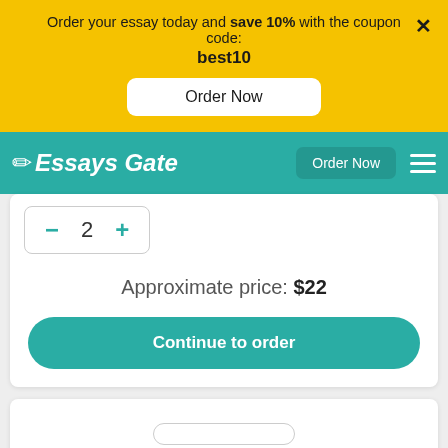Order your essay today and save 10% with the coupon code: best10
[Figure (screenshot): Order Now button on yellow banner]
[Figure (screenshot): Essays Gate navigation bar with logo and Order Now button]
[Figure (screenshot): Quantity counter showing minus, 2, plus]
Approximate price: $22
[Figure (screenshot): Continue to order teal button]
[Figure (screenshot): Second white card section at bottom]